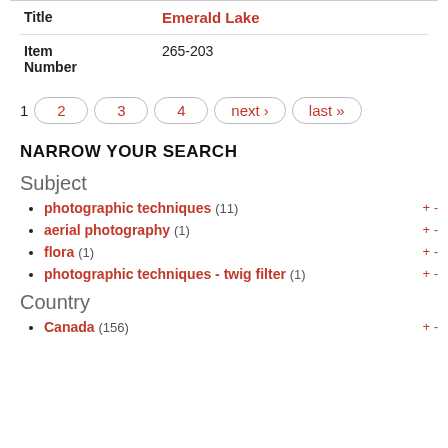| Field | Value |
| --- | --- |
| Title | Emerald Lake |
| Item Number | 265-203 |
1  2  3  4  next ›  last »
NARROW YOUR SEARCH
Subject
photographic techniques (11)
aerial photography (1)
flora (1)
photographic techniques - twig filter (1)
Country
Canada (156)